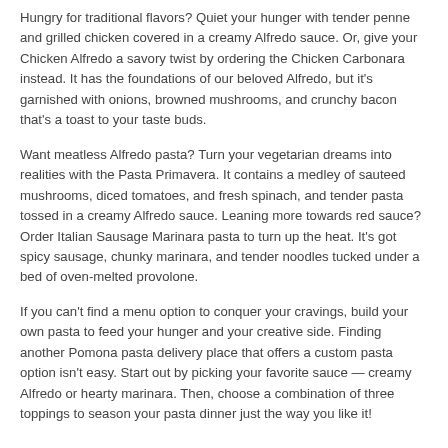Hungry for traditional flavors? Quiet your hunger with tender penne and grilled chicken covered in a creamy Alfredo sauce. Or, give your Chicken Alfredo a savory twist by ordering the Chicken Carbonara instead. It has the foundations of our beloved Alfredo, but it's garnished with onions, browned mushrooms, and crunchy bacon that's a toast to your taste buds.
Want meatless Alfredo pasta? Turn your vegetarian dreams into realities with the Pasta Primavera. It contains a medley of sauteed mushrooms, diced tomatoes, and fresh spinach, and tender pasta tossed in a creamy Alfredo sauce. Leaning more towards red sauce? Order Italian Sausage Marinara pasta to turn up the heat. It's got spicy sausage, chunky marinara, and tender noodles tucked under a bed of oven-melted provolone.
If you can't find a menu option to conquer your cravings, build your own pasta to feed your hunger and your creative side. Finding another Pomona pasta delivery place that offers a custom pasta option isn't easy. Start out by picking your favorite sauce — creamy Alfredo or hearty marinara. Then, choose a combination of three toppings to season your pasta dinner just the way you like it!